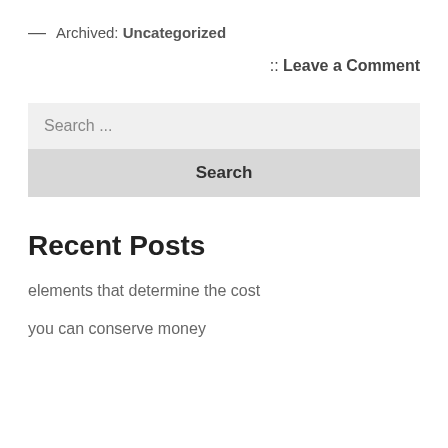— Archived: Uncategorized
:: Leave a Comment
Search ...
Search
Recent Posts
elements that determine the cost
you can conserve money